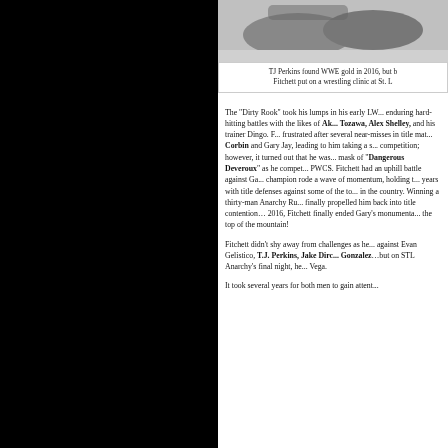[Figure (photo): Wrestling match photo showing two wrestlers on the mat]
TJ Perkins found WWE gold in 2016, but b... Fitchett put on a wrestling clinic at St. L...
The “Dirty Rook” took his lumps in his early LW... enduring hard-hitting battles with the likes of Ak... Tozawa, Alex Shelley, and his trainer Dingo. F... frustrated after several near-misses in title mat... Corbin and Gary Jay, leading to him taking a s... competition; however, it turned out that he was... mask of “Dangerous Deveroux” as he compet... PWCS. Fitchett had an uphill battle against Ga... champion rode a wave of momentum, holding t... years with title defenses against some of the to... in the country. Winning a thirty-man Anarchy Ru... finally propelled him back into title contention…... 2016, Fitchett finally ended Gary’s monumenta... the top of the mountain!
Fitchett didn’t shy away from challenges as he... against Evan Gelistico, T.J. Perkins, Jake Dirc... Gonzalez…but on STL Anarchy’s final night, h... Vega.
It took several years for both men to gain attent...